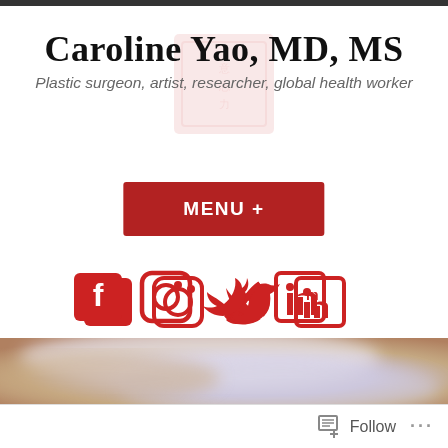Caroline Yao, MD, MS
Plastic surgeon, artist, researcher, global health worker
[Figure (screenshot): Red MENU + button for website navigation]
[Figure (screenshot): Social media icons: Facebook, Instagram, Twitter, LinkedIn]
[Figure (photo): Close-up blurred photo of what appears to be skin tissue with surgical markings]
Follow ...